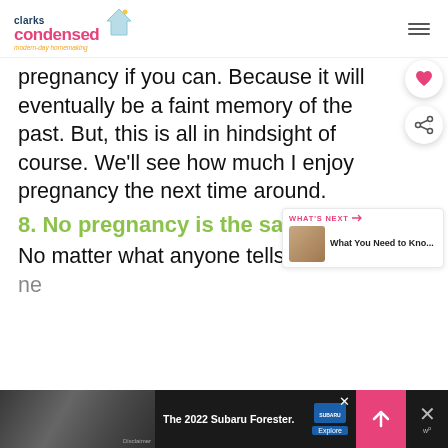clarks condensed — modern-day homemaking
pregnancy if you can. Because it will eventually be a faint memory of the past. But, this is all in hindsight of course. We'll see how much I enjoy pregnancy the next time around.
8. No pregnancy is the same
No matter what anyone tells you, you'll ne...